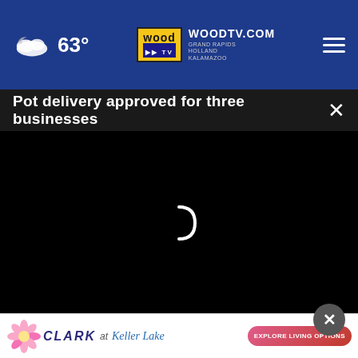63° WOODTV.COM GRAND RAPIDS HOLLAND KALAMAZOO
Pot delivery approved for three businesses
[Figure (screenshot): Black video player area with loading spinner visible]
been warranted or unwarranted?
Totally warranted
Somewhat unwarranted
[Figure (illustration): Clark at Keller Lake advertisement banner with flower illustration and Explore Living Options button]